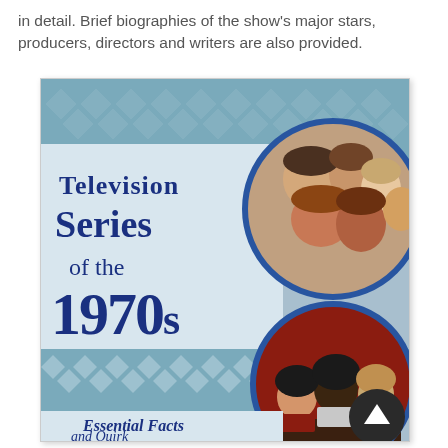in detail. Brief biographies of the show's major stars, producers, directors and writers are also provided.
[Figure (photo): Book cover of 'Television Series of the 1970s: Essential Facts and Quirky Details' showing two circular photo insets of TV show cast members against a blue diamond-patterned background, with the book title in large dark blue text.]